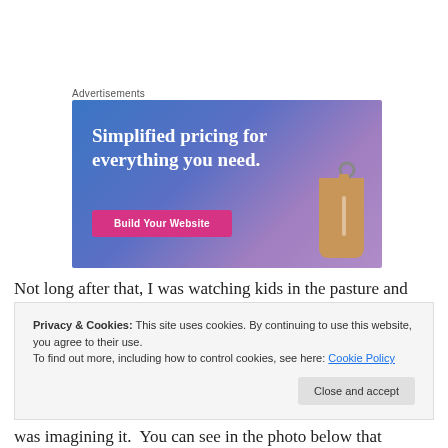Advertisements
[Figure (photo): Advertisement banner with blue-purple gradient background, white serif text reading 'Simplified pricing for everything you need.', a pink 'Build Your Website' button, and a tan price tag hanging on the right side.]
Not long after that, I was watching kids in the pasture and was imagining it.  You can see in the photo below that
Privacy & Cookies: This site uses cookies. By continuing to use this website, you agree to their use.
To find out more, including how to control cookies, see here: Cookie Policy
Close and accept